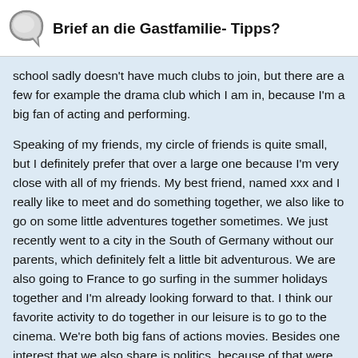Brief an die Gastfamilie- Tipps?
school sadly doesn't have much clubs to join, but there are a few for example the drama club which I am in, because I'm a big fan of acting and performing.
Speaking of my friends, my circle of friends is quite small, but I definitely prefer that over a large one because I'm very close with all of my friends. My best friend, named xxx and I really like to meet and do something together, we also like to go on some little adventures together sometimes. We just recently went to a city in the South of Germany without our parents, which definitely felt a little bit adventurous. We are also going to France to go surfing in the summer holidays together and I'm already looking forward to that. I think our favorite activity to do together in our leisure is to go to the cinema. We're both big fans of actions movies. Besides one interest that we also share is politics, because of that were both members in a political youth organization. We have a meeting there every Thursday where we talk about current political issues with other interested people. Since my friend wants to do an exchange year too, we